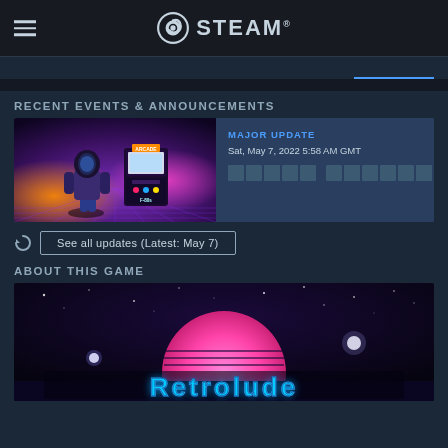STEAM
RECENT EVENTS & ANNOUNCEMENTS
[Figure (screenshot): Retro arcade scene with a figure in a space suit standing in front of a glowing arcade cabinet labeled 'ARCADE' in neon purple/pink lighting]
MAJOR UPDATE
Sat, May 7, 2022 5:58 AM GMT
See all updates (Latest: May 7)
ABOUT THIS GAME
[Figure (screenshot): Retro-wave game banner with a large pink semicircle sun, starfield background, and stylized text reading 'Retrolude' in chrome/neon lettering]